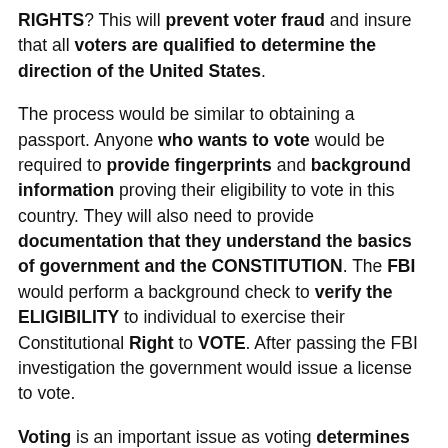RIGHTS? This will prevent voter fraud and insure that all voters are qualified to determine the direction of the United States.
The process would be similar to obtaining a passport. Anyone who wants to vote would be required to provide fingerprints and background information proving their eligibility to vote in this country. They will also need to provide documentation that they understand the basics of government and the CONSTITUTION. The FBI would perform a background check to verify the ELIGIBILITY to individual to exercise their Constitutional Right to VOTE. After passing the FBI investigation the government would issue a license to vote.
Voting is an important issue as voting determines the course of OUR COUNTRY. I keep hearing the liberal left saying "Elections have consequences". Let's make sure that everyone who votes is LEGALLY ELIGIBLE AND QUALIFIED TO VOTE.